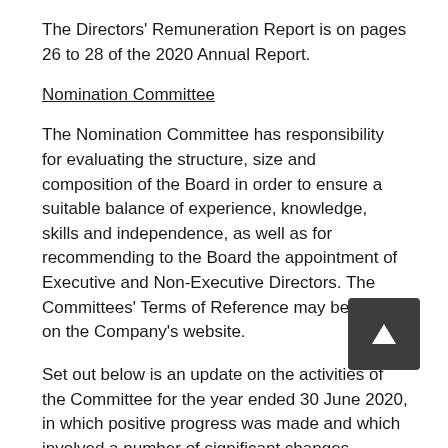The Directors' Remuneration Report is on pages 26 to 28 of the 2020 Annual Report.
Nomination Committee
The Nomination Committee has responsibility for evaluating the structure, size and composition of the Board in order to ensure a suitable balance of experience, knowledge, skills and independence, as well as for recommending to the Board the appointment of Executive and Non-Executive Directors. The Committees' Terms of Reference may be found on the Company's website.
Set out below is an update on the activities of the Committee for the year ended 30 June 2020, in which positive progress was made and which involved a number of significant changes.
The composition of the Committee changed